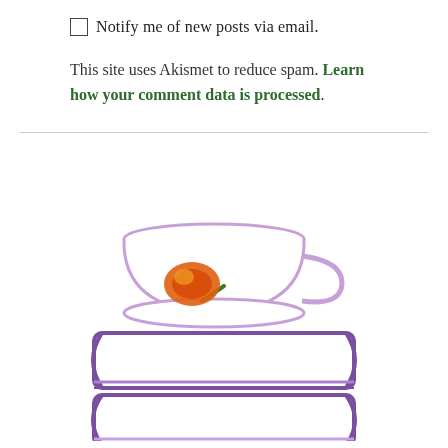Notify me of new posts via email.
This site uses Akismet to reduce spam. Learn how your comment data is processed.
[Figure (illustration): Illustration of a teacup with a flower/mushroom design sitting on top of a stack of purple-outlined books]